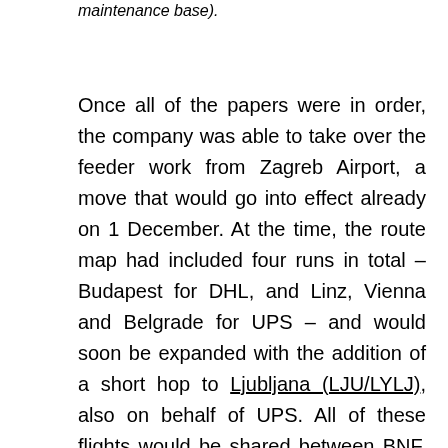LDZA tower (nowadays part of Croatia Airlines maintenance base).
Once all of the papers were in order, the company was able to take over the feeder work from Zagreb Airport, a move that would go into effect already on 1 December. At the time, the route map had included four runs in total – Budapest for DHL, and Linz, Vienna and Belgrade for UPS – and would soon be expanded with the addition of a short hop to Ljubljana (LJU/LYLJ), also on behalf of UPS. All of these flights would be shared between BNF, DFN and DFO (with BNF generally taking Vienna and the C310s